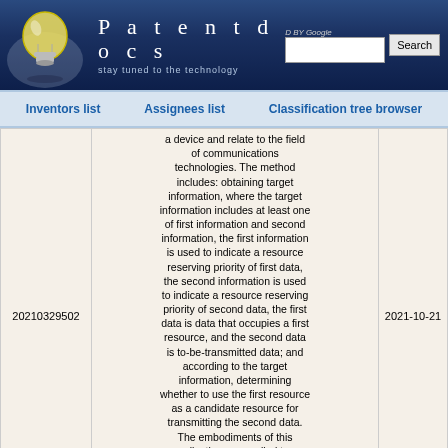Patentdocs — stay tuned to the technology
Inventors list   Assignees list   Classification tree browser
|  | Patent Number | Abstract | Date |
| --- | --- | --- | --- |
|  | 20210329502 | a device and relate to the field of communications technologies. The method includes: obtaining target information, where the target information includes at least one of first information and second information, the first information is used to indicate a resource reserving priority of first data, the second information is used to indicate a resource reserving priority of second data, the first data is data that occupies a first resource, and the second data is to-be-transmitted data; and according to the target information, determining whether to use the first resource as a candidate resource for transmitting the second data. The embodiments of this application are applied to a scenario where UE reserves a resource for to-be-transmitted data. | 2021-10-21 |
|  | UNMANNED AERIAL VEHICLE |  |  |